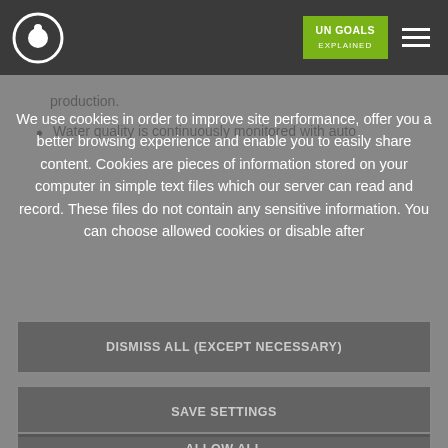UN GOALS
production.
Water quality is continuously monitored with auto
We use cookies in order to improve site performance, offer you a better browsing experience and enable you to easily share content. Cookies are pieces of information stored on your computer in simple text files which our server can read and record. These files do not contain any sensitive information. You can choose allowed cookies or disable after
DISMISS ALL (EXCEPT NECESSARY)
SAVE SETTINGS
ALLOW ALL